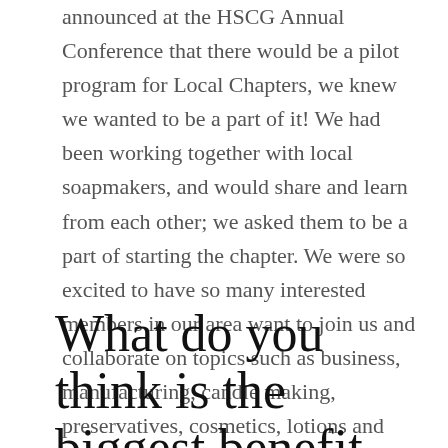announced at the HSCG Annual Conference that there would be a pilot program for Local Chapters, we knew we wanted to be a part of it! We had been working together with local soapmakers, and would share and learn from each other; we asked them to be a part of starting the chapter. We were so excited to have so many interested members in our area want to join us and collaborate on topics such as business, manufacturing, candle making, preservatives, cosmetics, lotions and more.
What do you think is the biggest benefit